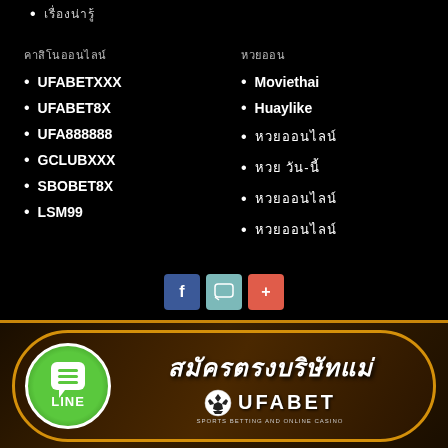เรื่องน่ารู้
คาสิโนออนไลน์
หวยออน
UFABETXXX
Moviethai
UFABET8X
Huaylike
UFA888888
หวยออนไลน์
GCLUBXXX
หวย วัน-นี้
SBOBET8X
หวยออนไลน์
LSM99
หวยออนไลน์
[Figure (screenshot): Social share buttons: Facebook, messenger/chat, and plus button]
[Figure (logo): UFABET banner with LINE logo and Thai text สมัครตรงบริษัทแม่ and UFABET sports betting and online casino logo]